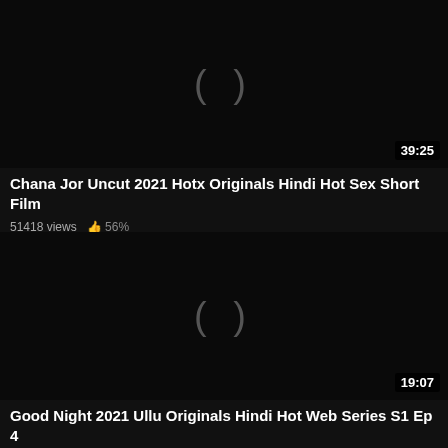[Figure (screenshot): Video thumbnail — dark/black background with loading spinner indicator and duration badge 39:25]
Chana Jor Uncut 2021 Hotx Originals Hindi Hot Sex Short Film
51418 views  👍 56%
[Figure (screenshot): Video thumbnail — dark/black background with loading spinner indicator and duration badge 19:07]
Good Night 2021 Ullu Originals Hindi Hot Web Series S1 Ep 4